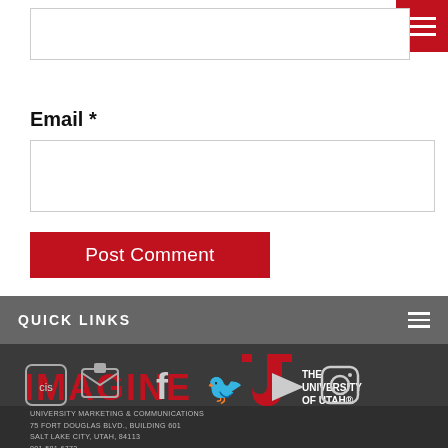Email *
Post Comment
QUICK LINKS
[Figure (logo): IMAGINE U - The University of Utah logo in red and white on dark background]
[Figure (infographic): Social media icons row: CIS, email/newsletter, Facebook, Twitter, YouTube, Instagram]
UNIVERSITY MARKETING & COMMUNICATIONS
75 FORT DOUGLAS BLVD., BUILDING 601
SALT LAKE CITY, UTAH, 84113
801.581.6773